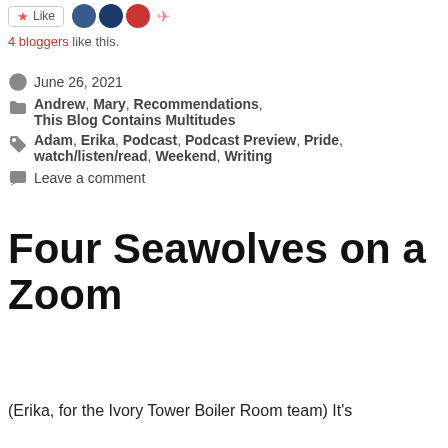[Figure (other): Like button with star icon and blogger avatar images and pink arrow icon]
4 bloggers like this.
June 26, 2021
Andrew, Mary, Recommendations, This Blog Contains Multitudes
Adam, Erika, Podcast, Podcast Preview, Pride, watch/listen/read, Weekend, Writing
Leave a comment
Four Seawolves on a Zoom
(Erika, for the Ivory Tower Boiler Room team) It's